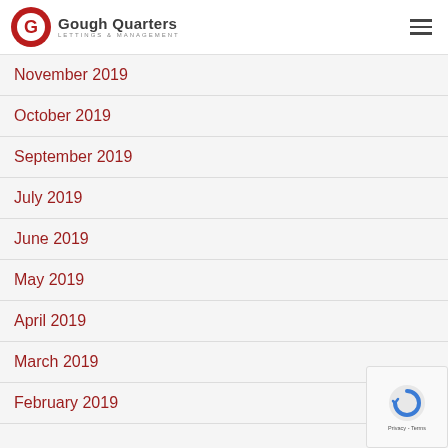Gough Quarters – Lettings & Management
November 2019
October 2019
September 2019
July 2019
June 2019
May 2019
April 2019
March 2019
February 2019